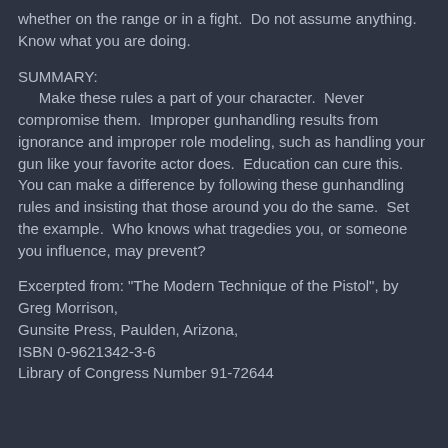whether on the range or in a fight.  Do not assume anything.  Know what you are doing.
SUMMARY:
Make these rules a part of your character.  Never compromise them.  Improper gunhandling results from ignorance and improper role modeling, such as handling your gun like your favorite actor does.  Education can cure this.  You can make a difference by following these gunhandling rules and insisting that those around you do the same.  Set the example.  Who knows what tragedies you, or someone you influence, may prevent?
Excerpted from: "The Modern Technique of the Pistol", by Greg Morrison,
Gunsite Press, Paulden, Arizona,
ISBN 0-9621342-3-6
Library of Congress Number 91-72644